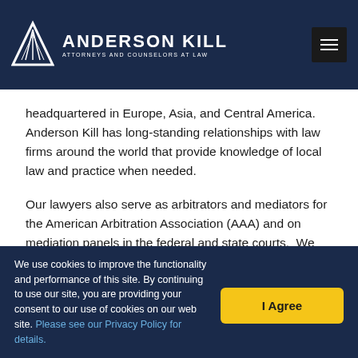Anderson Kill — Attorneys and Counselors at Law
headquartered in Europe, Asia, and Central America. Anderson Kill has long-standing relationships with law firms around the world that provide knowledge of local law and practice when needed.
Our lawyers also serve as arbitrators and mediators for the American Arbitration Association (AAA) and on mediation panels in the federal and state courts.  We also work in the forefront of alternative dispute resolution advancement, lecturing and authoring articles on ADR and working in foreign countries to promote the use of ADR.
We use cookies to improve the functionality and performance of this site. By continuing to use our site, you are providing your consent to our use of cookies on our web site. Please see our Privacy Policy for details.